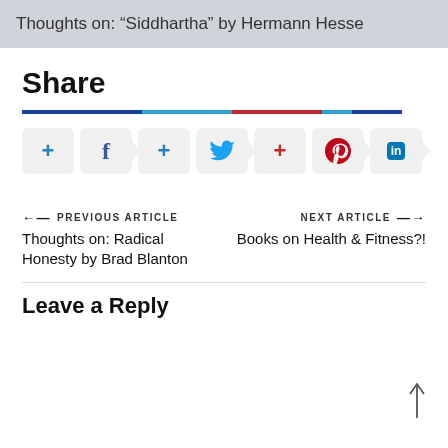Thoughts on: “Siddhartha” by Hermann Hesse
Share
[Figure (infographic): Social sharing buttons row: plus button, Facebook button with arrow, plus button, Twitter bird button with arrow, plus button, Pinterest button with arrow, LinkedIn button with arrow. Above the buttons is a horizontal color bar with dark blue, light blue, red, light blue, dark blue segments.]
←  PREVIOUS ARTICLE
NEXT ARTICLE  →
Thoughts on: Radical Honesty by Brad Blanton
Books on Health & Fitness?!
Leave a Reply